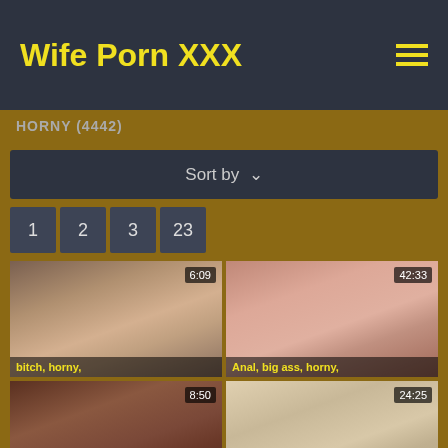Wife Porn XXX
HORNY (4442)
Sort by ∨
1
2
3
23
[Figure (photo): Video thumbnail showing sexual content, duration 6:09, tags: bitch, horny]
[Figure (photo): Video thumbnail showing sexual content, duration 42:33, tags: Anal, big ass, horny]
[Figure (photo): Video thumbnail showing sexual content, duration 8:50]
[Figure (photo): Video thumbnail showing sexual content, duration 24:25]